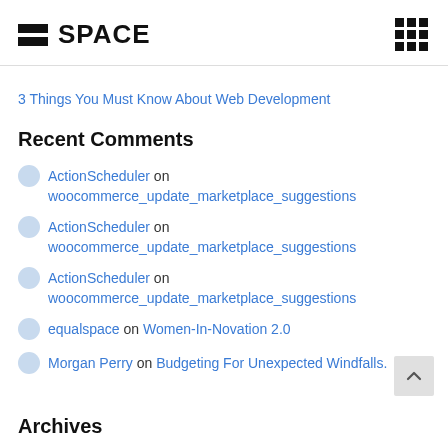SPACE
3 Things You Must Know About Web Development
Recent Comments
ActionScheduler on woocommerce_update_marketplace_suggestions
ActionScheduler on woocommerce_update_marketplace_suggestions
ActionScheduler on woocommerce_update_marketplace_suggestions
equalspace on Women-In-Novation 2.0
Morgan Perry on Budgeting For Unexpected Windfalls.
Archives